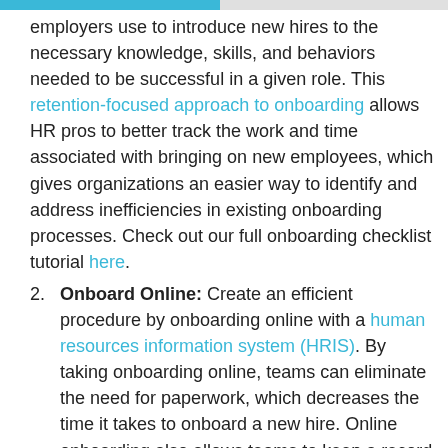employers use to introduce new hires to the necessary knowledge, skills, and behaviors needed to be successful in a given role. This retention-focused approach to onboarding allows HR pros to better track the work and time associated with bringing on new employees, which gives organizations an easier way to identify and address inefficiencies in existing onboarding processes. Check out our full onboarding checklist tutorial here.
Onboard Online: Create an efficient procedure by onboarding online with a human resources information system (HRIS). By taking onboarding online, teams can eliminate the need for paperwork, which decreases the time it takes to onboard a new hire. Online onboarding also allows teams to keep a record of new hire documents without any added steps.